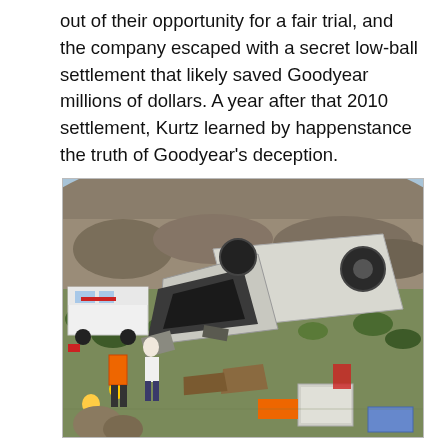out of their opportunity for a fair trial, and the company escaped with a secret low-ball settlement that likely saved Goodyear millions of dollars. A year after that 2010 settlement, Kurtz learned by happenstance the truth of Goodyear's deception.
[Figure (photo): A photograph of a severely overturned and crashed recreational vehicle/camper on the side of a road near a rocky hillside. Emergency responders including firefighters in orange vests and an ambulance are visible at the scene. Debris and personal belongings are scattered around the wreckage.]